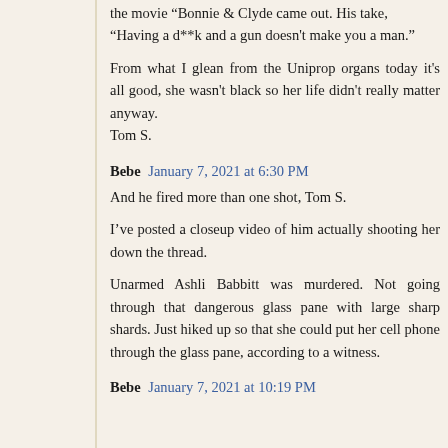the movie "Bonnie & Clyde came out. His take, "Having a d**k and a gun doesn't make you a man."
From what I glean from the Uniprop organs today it's all good, she wasn't black so her life didn't really matter anyway.
Tom S.
Bebe  January 7, 2021 at 6:30 PM
And he fired more than one shot, Tom S.
I've posted a closeup video of him actually shooting her down the thread.
Unarmed Ashli Babbitt was murdered. Not going through that dangerous glass pane with large sharp shards. Just hiked up so that she could put her cell phone through the glass pane, according to a witness.
Bebe  January 7, 2021 at 10:19 PM